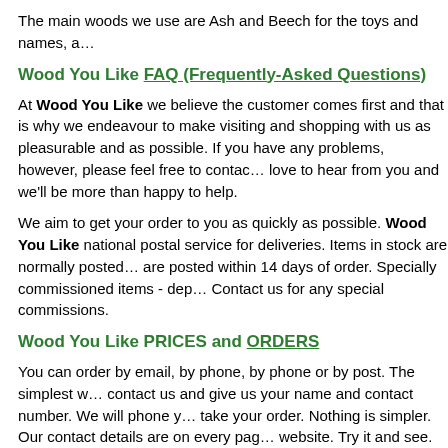The main woods we use are Ash and Beech for the toys and names, a…
Wood You Like FAQ (Frequently-Asked Questions)
At Wood You Like we believe the customer comes first and that is why we endeavour to make visiting and shopping with us as pleasurable and as possible. If you have any problems, however, please feel free to contact us. love to hear from you and we'll be more than happy to help.
We aim to get your order to you as quickly as possible. Wood You Like national postal service for deliveries. Items in stock are normally posted are posted within 14 days of order. Specially commissioned items - dep Contact us for any special commissions.
Wood You Like PRICES and ORDERS
You can order by email, by phone, by phone or by post. The simplest w contact us and give us your name and contact number. We will phone y take your order. Nothing is simpler. Our contact details are on every pag website. Try it and see. Easy as it gets.
We accept Visa and Master Card credit cards. Your credit card is charg…